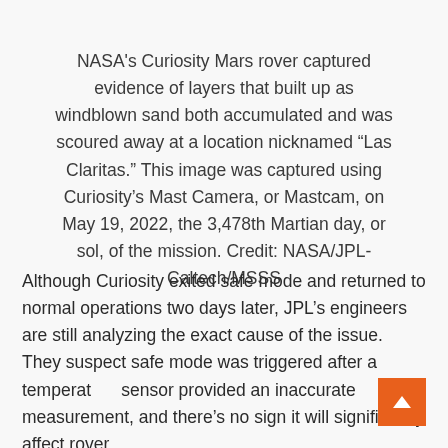NASA's Curiosity Mars rover captured evidence of layers that built up as windblown sand both accumulated and was scoured away at a location nicknamed “Las Claritas.” This image was captured using Curiosity’s Mast Camera, or Mastcam, on May 19, 2022, the 3,478th Martian day, or sol, of the mission. Credit: NASA/JPL-Caltech/MSSS
Although Curiosity exited safe mode and returned to normal operations two days later, JPL’s engineers are still analyzing the exact cause of the issue. They suspect safe mode was triggered after a temperature sensor provided an inaccurate measurement, and there’s no sign it will significantly affect rover